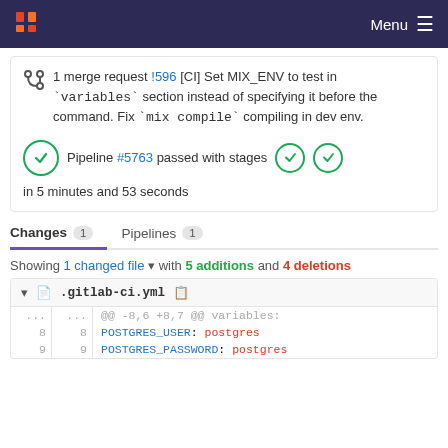Menu
1 merge request !596 [CI] Set MIX_ENV to test in `variables` section instead of specifying it before the command. Fix `mix compile` compiling in dev env.
Pipeline #5763 passed with stages in 5 minutes and 53 seconds
Changes 1   Pipelines 1
Showing 1 changed file with 5 additions and 4 deletions
.gitlab-ci.yml
| old_ln | new_ln | code |
| --- | --- | --- |
| ... | ... | @@ -8,6 +8,7 @@ variables: |
| 8 | 8 |     POSTGRES_USER: postgres |
| 9 | 9 |     POSTGRES_PASSWORD: postgres |